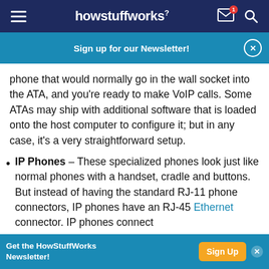howstuffworks
Sign up for our Newsletter!
phone that would normally go in the wall socket into the ATA, and you're ready to make VoIP calls. Some ATAs may ship with additional software that is loaded onto the host computer to configure it; but in any case, it's a very straightforward setup.
IP Phones – These specialized phones look just like normal phones with a handset, cradle and buttons. But instead of having the standard RJ-11 phone connectors, IP phones have an RJ-45 Ethernet connector. IP phones connect
Get the HowStuffWorks Newsletter! Sign Up